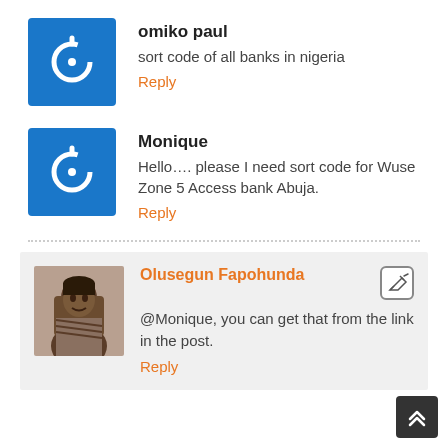omiko paul
sort code of all banks in nigeria
Reply
Monique
Hello…. please I need sort code for Wuse Zone 5 Access bank Abuja.
Reply
Olusegun Fapohunda
@Monique, you can get that from the link in the post.
Reply